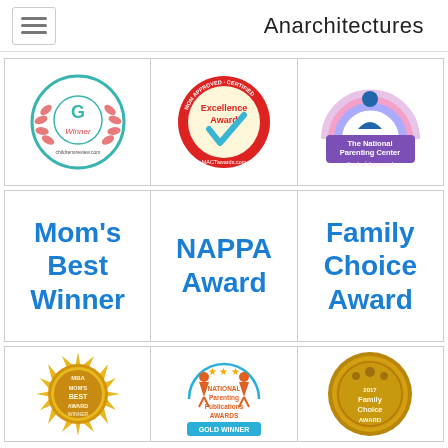Anarchitectures
[Figure (logo): Award badge - Winner laurel wreath circle badge in teal/red]
[Figure (logo): MACTawards.com Excellence Award - Mom Approved red circle badge with blue checkmark]
[Figure (logo): The National Parenting Center Seal of Approval - purple rainbow arch badge]
Mom's Best Winner
NAPPA Award
Family Choice Award
[Figure (logo): Mom's Best Award Winner - gold sunburst MBA medallion]
[Figure (logo): National Parenting Publications Awards - GOLD WINNER badge with children figures]
[Figure (logo): 2017 Family Choice Award - gold coin medallion]